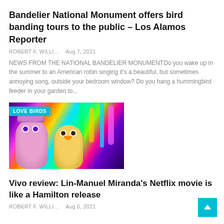Bandelier National Monument offers bird banding tours to the public – Los Alamos Reporter
ROBERT F. WILLI...    Aug 7, 2021
NEWS FROM THE NATIONAL BANDELIER MONUMENTDo you wake up in the summer to an American robin singing it's a beautiful, but sometimes annoying song, outside your bedroom window? Do you hang a hummingbird feeder in your garden to...
[Figure (photo): Animated movie still showing two bird characters from a colorful neon-lit scene, with a 'LOVE BIRDS' badge overlay in teal on the top left.]
Vivo review: Lin-Manuel Miranda's Netflix movie is like a Hamilton release
ROBERT F. WILLI...    Aug 6, 2021